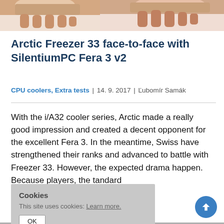[Figure (photo): Partial cropped view of two CPU coolers being held by hands, top portion of the page, white background]
Arctic Freezer 33 face-to-face with SilentiumPC Fera 3 v2
CPU coolers, Extra tests | 14. 9. 2017 | Ľubomír Samák
With the i/A32 cooler series, Arctic made a really good impression and created a decent opponent for the excellent Fera 3. In the meantime, Swiss have strengthened their ranks and advanced to battle with Freezer 33. However, the expected drama happen. Because players, the tandard
Cookies
This site uses cookies: Learn more.
OK